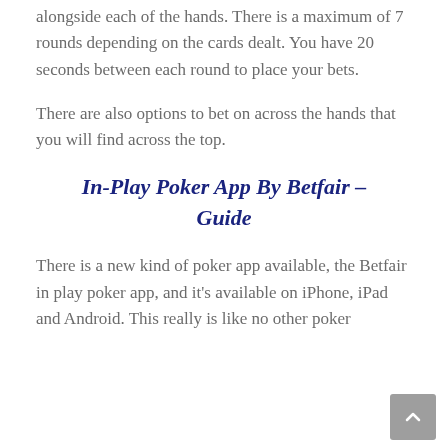alongside each of the hands. There is a maximum of 7 rounds depending on the cards dealt. You have 20 seconds between each round to place your bets.
There are also options to bet on across the hands that you will find across the top.
In-Play Poker App By Betfair – Guide
There is a new kind of poker app available, the Betfair in play poker app, and it's available on iPhone, iPad and Android. This really is like no other poker app available. This is often a traditional